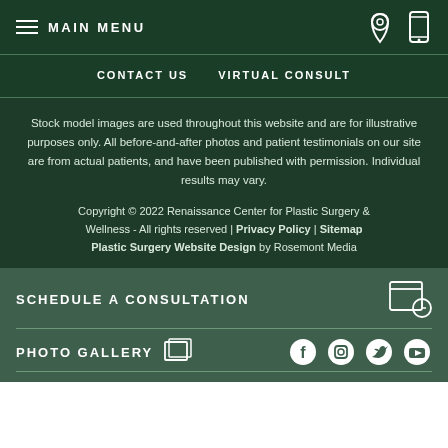MAIN MENU
CONTACT US   VIRTUAL CONSULT
Stock model images are used throughout this website and are for illustrative purposes only. All before-and-after photos and patient testimonials on our site are from actual patients, and have been published with permission. Individual results may vary.
Copyright © 2022 Renaissance Center for Plastic Surgery & Wellness - All rights reserved | Privacy Policy | Sitemap Plastic Surgery Website Design by Rosemont Media
SCHEDULE A CONSULTATION
PHOTO GALLERY